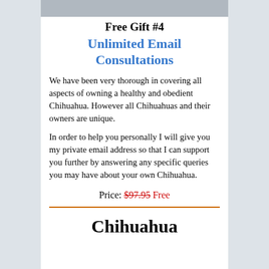[Figure (photo): Partial photo of a person at the top of the content area]
Free Gift #4
Unlimited Email Consultations
We have been very thorough in covering all aspects of owning a healthy and obedient Chihuahua. However all Chihuahuas and their owners are unique.
In order to help you personally I will give you my private email address so that I can support you further by answering any specific queries you may have about your own Chihuahua.
Price: $97.95 Free
Chihuahua